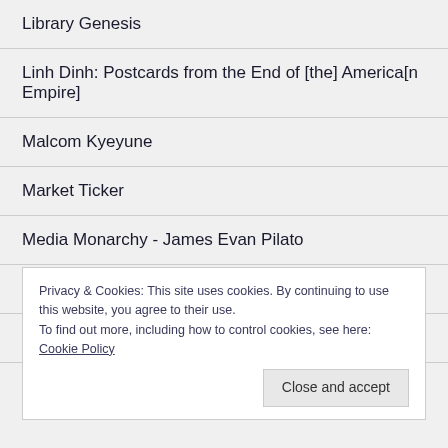Library Genesis
Linh Dinh: Postcards from the End of [the] America[n Empire]
Malcom Kyeyune
Market Ticker
Media Monarchy - James Evan Pilato
Michael Tracey
Mint Press News
Privacy & Cookies: This site uses cookies. By continuing to use this website, you agree to their use.
To find out more, including how to control cookies, see here: Cookie Policy
Close and accept